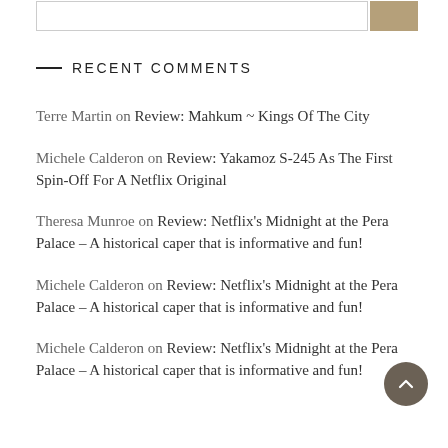RECENT COMMENTS
Terre Martin on Review: Mahkum ~ Kings Of The City
Michele Calderon on Review: Yakamoz S-245 As The First Spin-Off For A Netflix Original
Theresa Munroe on Review: Netflix's Midnight at the Pera Palace – A historical caper that is informative and fun!
Michele Calderon on Review: Netflix's Midnight at the Pera Palace – A historical caper that is informative and fun!
Michele Calderon on Review: Netflix's Midnight at the Pera Palace – A historical caper that is informative and fun!